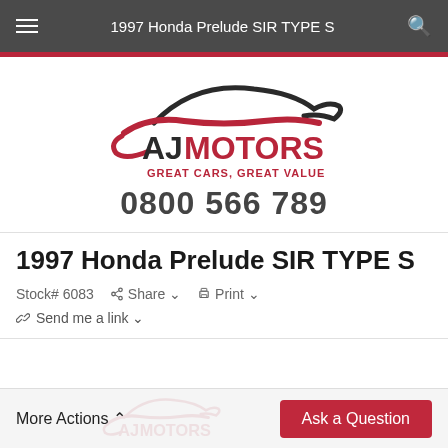1997 Honda Prelude SIR TYPE S
[Figure (logo): AJ Motors logo with car silhouette graphic. Text: AJ MOTORS, GREAT CARS, GREAT VALUE]
0800 566 789
1997 Honda Prelude SIR TYPE S
Stock# 6083  Share  Print  Send me a link
More Actions  Ask a Question